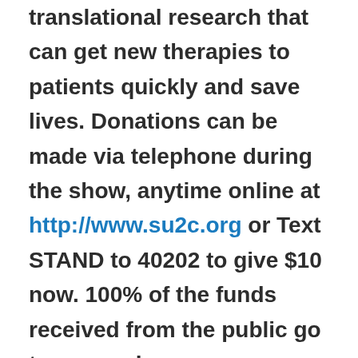translational research that can get new therapies to patients quickly and save lives. Donations can be made via telephone during the show, anytime online at http://www.su2c.org or Text STAND to 40202 to give $10 now. 100% of the funds received from the public go to research.

Stand Up To Cancer has raised more than